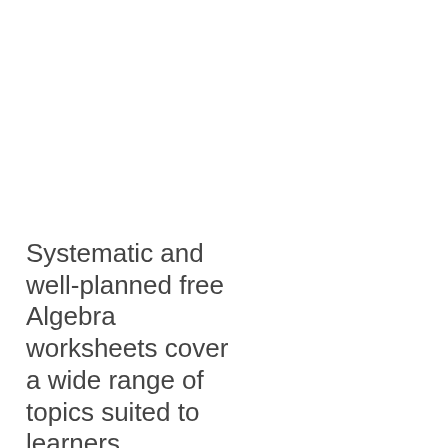Systematic and well-planned free Algebra worksheets cover a wide range of topics suited to learners belonging